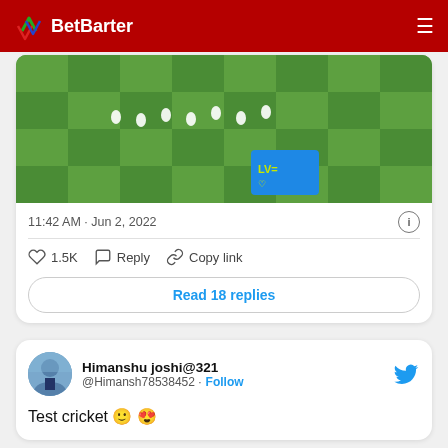BetBarter
[Figure (photo): Aerial view of a cricket ground showing fielders spread out on a green pitch with LV= sponsor logo visible]
11:42 AM · Jun 2, 2022
1.5K   Reply   Copy link
Read 18 replies
Himanshu joshi@321
@Himansh78538452 · Follow
Test cricket 🙂 😍